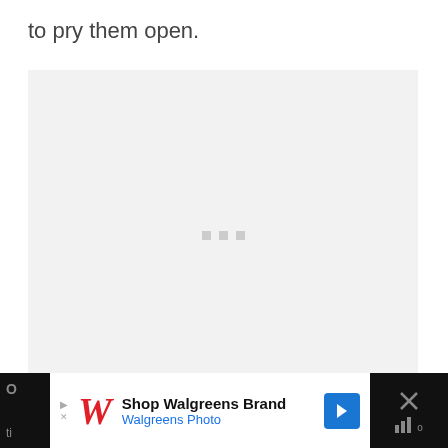to pry them open.
[Figure (other): Loading image placeholder with three gray squares in the center on a light gray background]
[Figure (other): Advertisement banner: Shop Walgreens Brand - Walgreens Photo, with Walgreens cursive W logo in red, a blue navigation arrow icon, and a close button X on dark background strips on left and right]